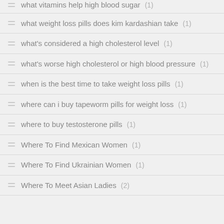what vitamins help high blood sugar (1)
what weight loss pills does kim kardashian take (1)
what's considered a high cholesterol level (1)
what's worse high cholesterol or high blood pressure (1)
when is the best time to take weight loss pills (1)
where can i buy tapeworm pills for weight loss (1)
where to buy testosterone pills (1)
Where To Find Mexican Women (1)
Where To Find Ukrainian Women (1)
Where To Meet Asian Ladies (2)